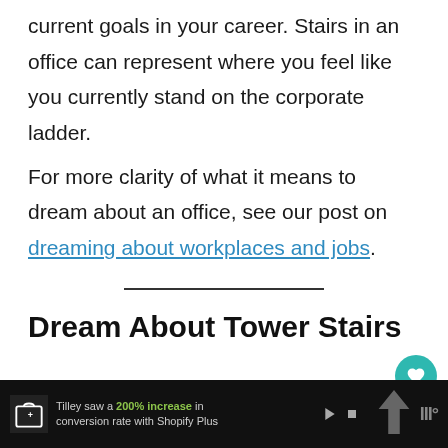current goals in your career. Stairs in an office can represent where you feel like you currently stand on the corporate ladder.
For more clarity of what it means to dream about an office, see our post on dreaming about workplaces and jobs.
Dream About Tower Stairs
[Figure (other): Advertisement banner for Shopify Plus showing a shopping bag icon, text about Tilley seeing a 200% increase in conversion rate with Shopify Plus, control icons, and a logo.]